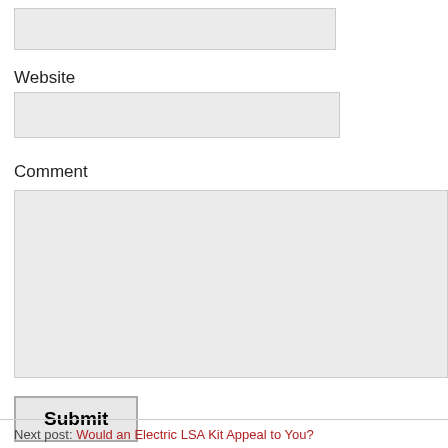[Figure (screenshot): Empty text input field for a form (top, partially visible)]
Website
[Figure (screenshot): Empty text input field for Website]
Comment
[Figure (screenshot): Large empty textarea field for Comment]
Submit
Next post: Would an Electric LSA Kit Appeal to You?